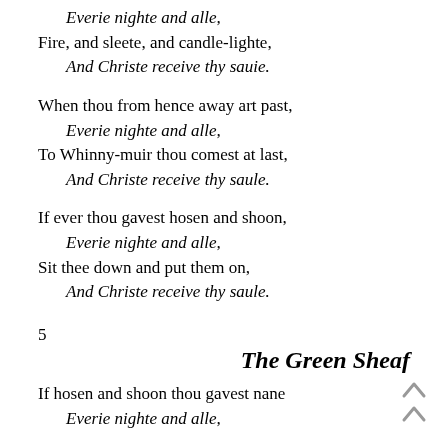Everie nighte and alle,
Fire, and sleete, and candle-lighte,
    And Christe receive thy sauie.
When thou from hence away art past,
    Everie nighte and alle,
To Whinny-muir thou comest at last,
    And Christe receive thy saule.
If ever thou gavest hosen and shoon,
    Everie nighte and alle,
Sit thee down and put them on,
    And Christe receive thy saule.
5
The Green Sheaf
If hosen and shoon thou gavest nane
    Everie nighte and alle,